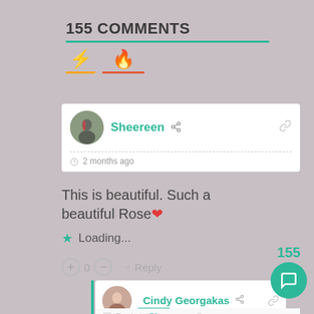155 COMMENTS
[Figure (screenshot): Comment section showing user Sheereen's comment 'This is beautiful. Such a beautiful Rose ❤' with loading indicator, vote buttons, and a reply from Cindy Georgakas (Author)]
Sheereen
2 months ago
This is beautiful. Such a beautiful Rose❤
★ Loading...
+ 0 − → Reply
Cindy Georgakas
Author
Reply to Sheereen 2 months ago
155